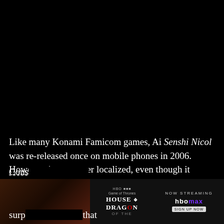[Figure (photo): Dark/black background area occupying the top portion of the page, appearing to be a video or image area that is unloaded or black.]
Like many Konami Famicom games, Ai Senshi Nicol was re-released once on mobile phones in 2006. However, it was never localized, even though it would have been a great fit for the 3DS Virtual Cons[ole...] surp[risingly...] that
[Figure (screenshot): Advertisement overlay for House of the Dragon on HBO Max, with a green loading/progress bar, a close button (X), and the HBO Max 'Now Streaming' banner with logo.]